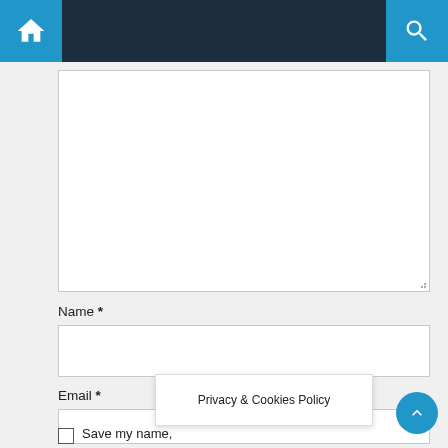Navigation bar with home and search icons
Name *
Email *
Website
Save my name,
Privacy & Cookies Policy